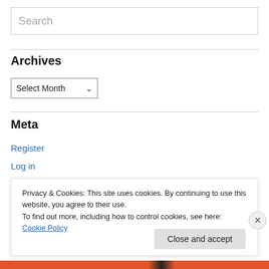Search
Archives
Select Month
Meta
Register
Log in
Privacy & Cookies: This site uses cookies. By continuing to use this website, you agree to their use.
To find out more, including how to control cookies, see here: Cookie Policy
Close and accept